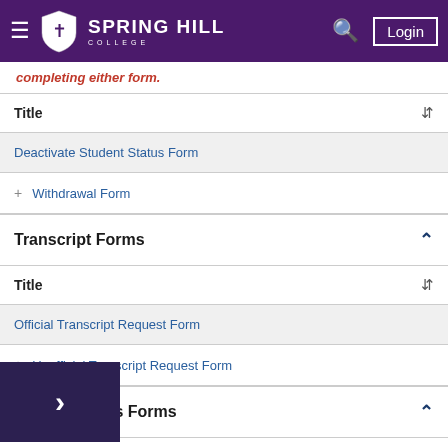Spring Hill College — Login
completing either form.
| Title | ↕ |
| --- | --- |
| Deactivate Student Status Form |  |
| Withdrawal Form |  |
Transcript Forms
| Title | ↕ |
| --- | --- |
| Official Transcript Request Form |  |
| Unofficial Transcript Request Form |  |
Miscellaneous Forms